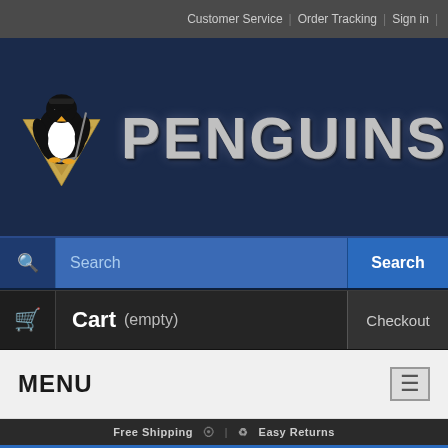Customer Service  |  Order Tracking  |  Sign in
[Figure (logo): Pittsburgh Penguins logo with penguin mascot holding a hockey stick on a gold triangle, with bold silver metallic PENGUINS text]
Search
Cart (empty)  Checkout
MENU
Free Shipping  |  Easy Returns
> Pittsburgh Penguins Jerseys > Bryan Trottier Jersey